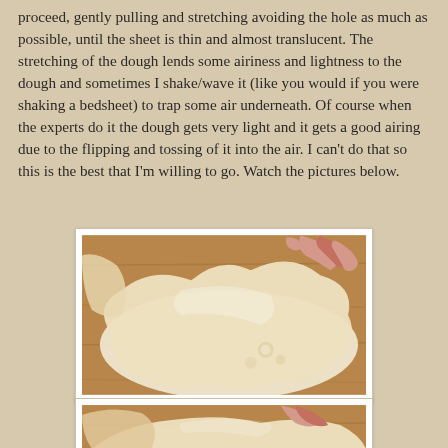proceed, gently pulling and stretching avoiding the hole as much as possible, until the sheet is thin and almost translucent. The stretching of the dough lends some airiness and lightness to the dough and sometimes I shake/wave it (like you would if you were shaking a bedsheet) to trap some air underneath. Of course when the experts do it the dough gets very light and it gets a good airing due to the flipping and tossing of it into the air. I can't do that so this is the best that I'm willing to go. Watch the pictures below.
[Figure (photo): Hands stretching thin, translucent dough sheet over a wooden surface, showing the dough pulled very thin and almost translucent.]
[Figure (photo): Partial view of another photo showing hands working with dough, bottom of page cropped.]